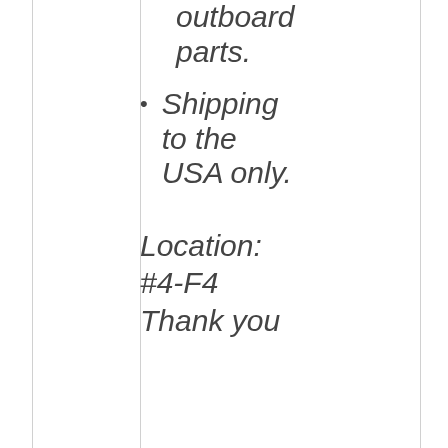outboard parts.
Shipping to the USA only.
Location:
#4-F4
Thank you